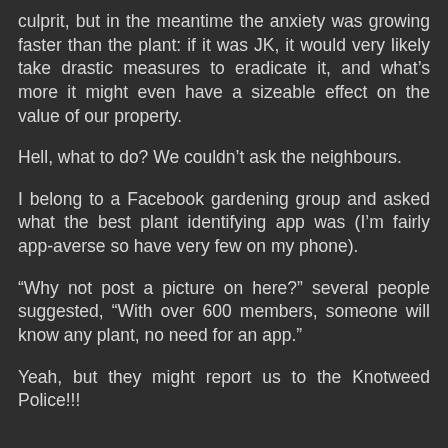culprit, but in the meantime the anxiety was growing faster than the plant: if it was JK, it would very likely take drastic measures to eradicate it, and what’s more it might even have a sizeable effect on the value of our property.
Hell, what to do? We couldn’t ask the neighbours.
I belong to a Facebook gardening group and asked what the best plant identifying app was (I’m fairly app-averse so have very few on my phone).
“Why not post a picture on here?” several people suggested, “With over 600 members, someone will know any plant, no need for an app.”
Yeah, but they might report us to the Knotweed Police!!!